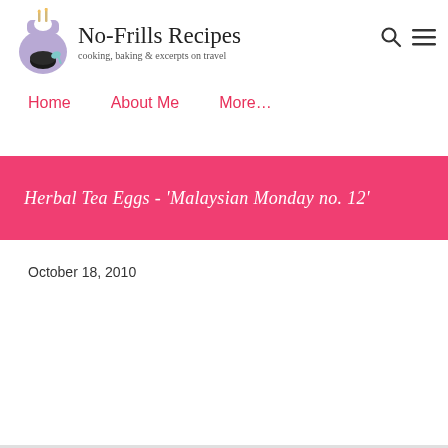[Figure (logo): No-Frills Recipes blog logo with a purple apron icon and cursive text reading 'No-Frills Recipes' with subtitle 'cooking, baking & excerpts on travel']
Home   About Me   More…
Herbal Tea Eggs - 'Malaysian Monday no. 12'
October 18, 2010